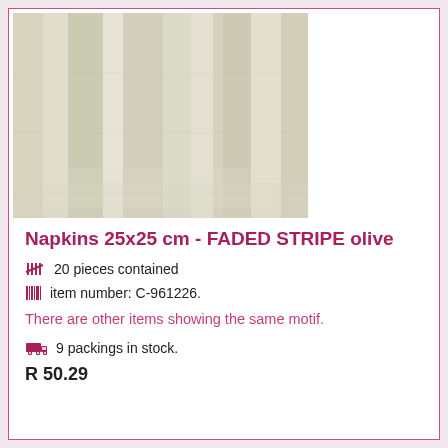[Figure (photo): Product photo of a napkin with faded olive stripe pattern, close-up showing pale green and cream vertical stripes on fabric]
Napkins 25x25 cm - FADED STRIPE olive
20 pieces contained
item number: C-961226.
There are other items showing the same motif.
9 packings in stock.
R 50.29